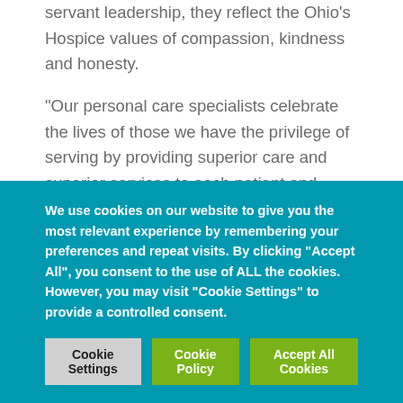servant leadership, they reflect the Ohio's Hospice values of compassion, kindness and honesty.
“Our personal care specialists celebrate the lives of those we have the privilege of serving by providing superior care and superior services to each patient and family,” said Brandi Barlow, vice president of administration at Ohio’s Hospice. “They are committed to making a difference in the lives of our patients and families every day. Ohio’s Hospice appreciates its personal care specialists for their passion in taking care
We use cookies on our website to give you the most relevant experience by remembering your preferences and repeat visits. By clicking “Accept All”, you consent to the use of ALL the cookies. However, you may visit "Cookie Settings" to provide a controlled consent.